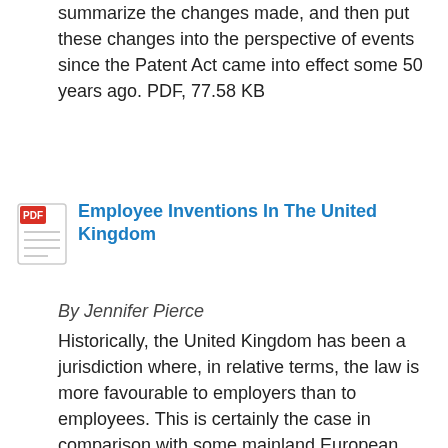summarize the changes made, and then put these changes into the perspective of events since the Patent Act came into effect some 50 years ago. PDF, 77.58 KB
Employee Inventions In The United Kingdom
By Jennifer Pierce
Historically, the United Kingdom has been a jurisdiction where, in relative terms, the law is more favourable to employers than to employees. This is certainly the case in comparison with some mainland European jurisdictions. In respect of ownership of employee inventions, the law is well established, but the law relating to employee compensation was amended in 2004 and the new legislation is effective for inventions applied for on or after 1 January 2005. The seminal cases on employee compensation all apply to the old legislation, which was seen as being too harsh